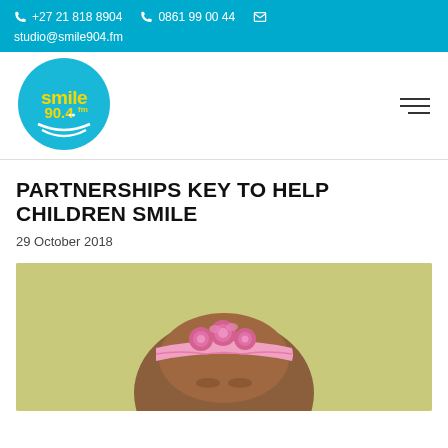+27 21 818 8904  0861 99 00 44  studio@smile904.fm
[Figure (logo): Smile 90.4 FM circular logo with blue background, yellow text reading 'smile 90.4fm' with radio wave lines]
PARTNERSHIPS KEY TO HELP CHILDREN SMILE
29 October 2018
[Figure (photo): Close-up photo of a young baby/child wearing a pink floral headband, with a light green/yellow background]